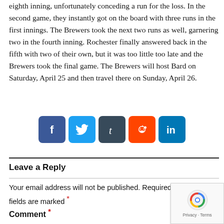eighth inning, unfortunately conceding a run for the loss. In the second game, they instantly got on the board with three runs in the first innings. The Brewers took the next two runs as well, garnering two in the fourth inning. Rochester finally answered back in the fifth with two of their own, but it was too little too late and the Brewers took the final game. The Brewers will host Bard on Saturday, April 25 and then travel there on Sunday, April 26.
[Figure (illustration): Social media share icons for Facebook, Twitter, Tumblr, Reddit, and LinkedIn]
Leave a Reply
Your email address will not be published. Required fields are marked *
Comment *